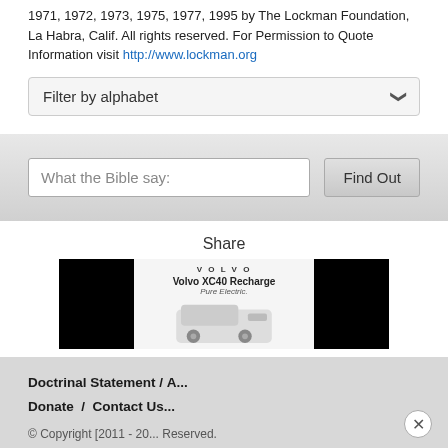1971, 1972, 1973, 1975, 1977, 1995 by The Lockman Foundation, La Habra, Calif. All rights reserved. For Permission to Quote Information visit http://www.lockman.org
[Figure (screenshot): Filter by alphabet dropdown selector]
[Figure (screenshot): Search bar with placeholder 'What the Bible say:' and Find Out button]
Share
[Figure (screenshot): Advertisement showing Volvo XC40 Recharge Pure Electric vehicle, flanked by black panels on left and right]
Doctrinal Statement / ... Donate / Contact Us...
© Copyright [2011 - 20... Reserved.